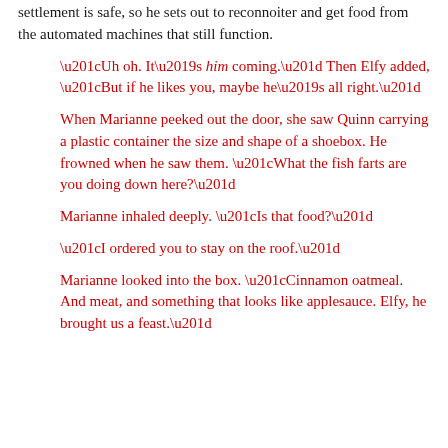settlement is safe, so he sets out to reconnoiter and get food from the automated machines that still function.
“Uh oh. It’s him coming.” Then Elfy added, “But if he likes you, maybe he’s all right.”
When Marianne peeked out the door, she saw Quinn carrying a plastic container the size and shape of a shoebox. He frowned when he saw them. “What the fish farts are you doing down here?”
Marianne inhaled deeply. “Is that food?”
“I ordered you to stay on the roof.”
Marianne looked into the box. “Cinnamon oatmeal. And meat, and something that looks like applesauce. Elfy, he brought us a feast.”